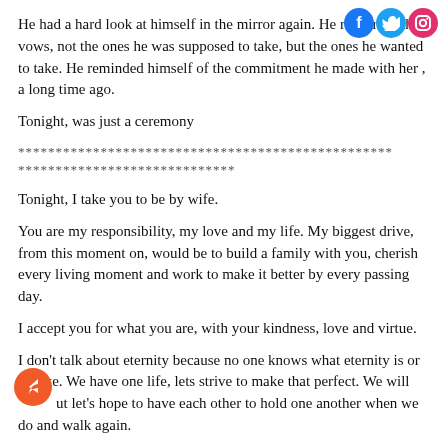He had a hard look at himself in the mirror again. He rehearsed the vows, not the ones he was supposed to take, but the ones he wanted to take. He reminded himself of the commitment he made with her , a long time ago.
Tonight, was just a ceremony
**************************************************
*****************************
Tonight, I take you to be by wife.
You are my responsibility, my love and my life. My biggest drive, from this moment on, would be to build a family with you, cherish every living moment and work to make it better by every passing day.
I accept you for what you are, with your kindness, love and virtue.
I don't talk about eternity because no one knows what eternity is or feels like. We have one life, lets strive to make that perfect. We will fail but let's hope to have each other to hold one another when we do and walk again.